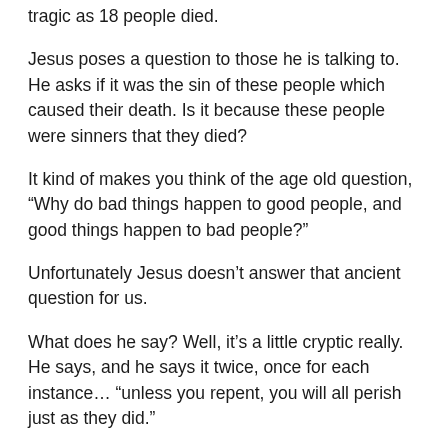tragic as 18 people died.
Jesus poses a question to those he is talking to. He asks if it was the sin of these people which caused their death. Is it because these people were sinners that they died?
It kind of makes you think of the age old question, “Why do bad things happen to good people, and good things happen to bad people?”
Unfortunately Jesus doesn’t answer that ancient question for us.
What does he say? Well, it’s a little cryptic really. He says, and he says it twice, once for each instance… “unless you repent, you will all perish just as they did.”
Wow, that’s a little harsh there now isn’t it Jesus?